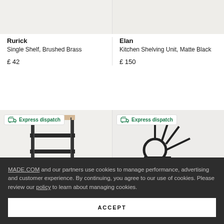[Figure (photo): Top portion of product images (cropped) for Rurick shelf and Elan shelving unit]
Rurick
Single Shelf, Brushed Brass
£ 42
Elan
Kitchen Shelving Unit, Matte Black
£ 150
[Figure (photo): Product image of a dark metal shelf unit with wood detail, Express dispatch badge]
[Figure (photo): Product image of a curved dark metal shelving unit, Express dispatch badge]
MADE.COM and our partners use cookies to manage performance, advertising and customer experience. By continuing, you agree to our use of cookies. Please review our policy to learn about managing cookies.
ACCEPT